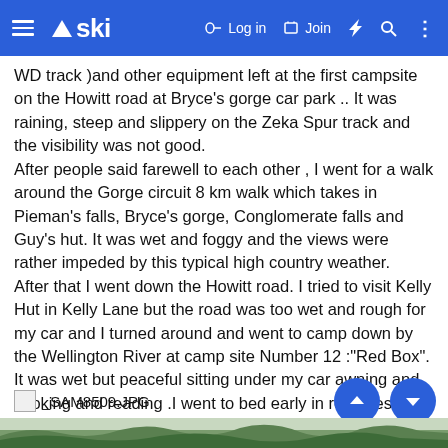≡ ski  🔑 Log in  📋 Join  ⚡ 🔍 ⋮
WD track )and other equipment left at the first campsite on the Howitt road at Bryce's gorge car park .. It was raining, steep and slippery on the Zeka Spur track and the visibility was not good.
After people said farewell to each other , I went for a walk around the Gorge circuit 8 km walk which takes in Pieman's falls, Bryce's gorge, Conglomerate falls and Guy's hut. It was wet and foggy and the views were rather impeded by this typical high country weather.
After that I went down the Howitt road. I tried to visit Kelly Hut in Kelly Lane but the road was too wet and rough for my car and I turned around and went to camp down by the Wellington River at camp site Number 12 :"Red Box". It was wet but peaceful sitting under my car awning and cooking and reading .I went to bed early in readiness for my Mt. Skene road trip the next day.
[Figure (screenshot): _SAM8509.JPG image link with up/down navigation buttons]
[Figure (photo): Nature/forest photo strip at the bottom of the page]